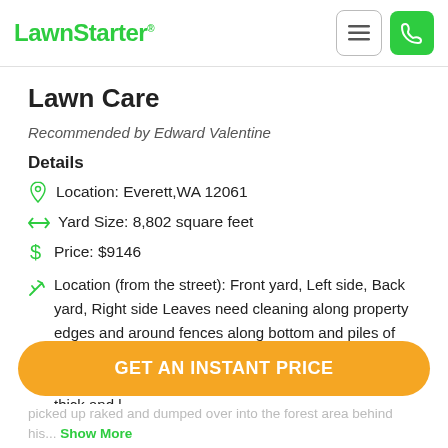LawnStarter
Lawn Care
Recommended by Edward Valentine
Details
Location: Everett,WA 12061
Yard Size: 8,802 square feet
Price: $9146
Location (from the street): Front yard, Left side, Back yard, Right side Leaves need cleaning along property edges and around fences along bottom and piles of leaves from previous season are all blown into areas that they have packed down and ritted but are also thick and l
GET AN INSTANT PRICE
picked up raked and dumped over into the forest area behind his... Show More